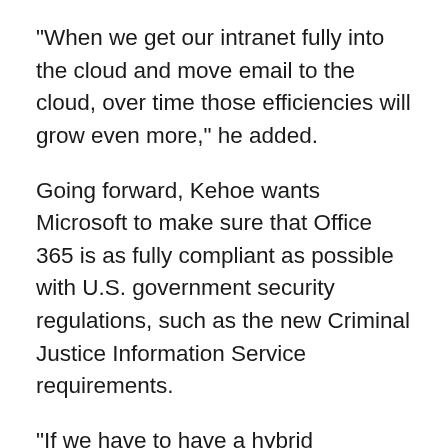"When we get our intranet fully into the cloud and move email to the cloud, over time those efficiencies will grow even more," he added.
Going forward, Kehoe wants Microsoft to make sure that Office 365 is as fully compliant as possible with U.S. government security regulations, such as the new Criminal Justice Information Service requirements.
"If we have to have a hybrid environment, where we have to build out on-premise servers for certain departments and agencies, that cuts down on our return-on-investment," he said. "The more we can put into the cloud, the more